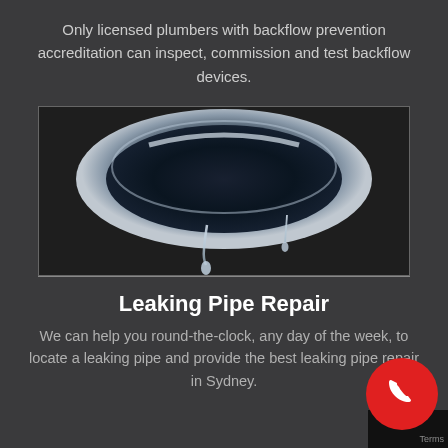Only licensed plumbers with backflow prevention accreditation can inspect, commission and test backflow devices.
[Figure (photo): Close-up photo of a chrome/metal circular pipe fitting with water droplets dripping from it against a dark background]
Leaking Pipe Repair
We can help you round-the-clock, any day of the week, to locate a leaking pipe and provide the best leaking pipe repair in Sydney.